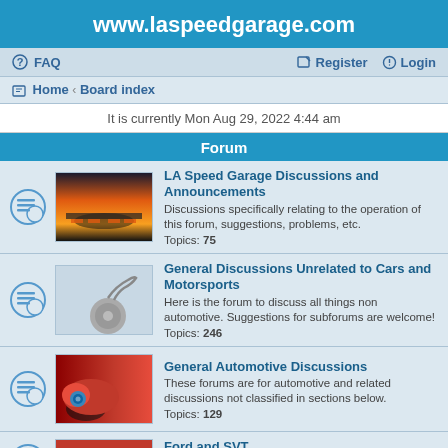www.laspeedgarage.com
FAQ   Register   Login
Home · Board index
It is currently Mon Aug 29, 2022 4:44 am
Forum
LA Speed Garage Discussions and Announcements
Discussions specifically relating to the operation of this forum, suggestions, problems, etc.
Topics: 75
General Discussions Unrelated to Cars and Motorsports
Here is the forum to discuss all things non automotive. Suggestions for subforums are welcome!
Topics: 246
General Automotive Discussions
These forums are for automotive and related discussions not classified in sections below.
Topics: 129
Ford and SVT
This is the forum to discuss Ford's high performance